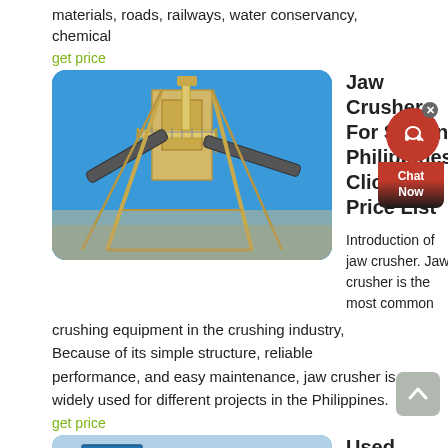materials, roads, railways, water conservancy, chemical
get price
[Figure (photo): Industrial jaw crusher / conveyor equipment against blue sky, yellow metal structure]
Jaw Crusher For Sale In Philippines Click For Price List
Introduction of jaw crusher. Jaw crusher is the most common crushing equipment in the crushing industry, Because of its simple structure, reliable performance, and easy maintenance, jaw crusher is widely used for different projects in the Philippines.
get price
[Figure (photo): Blue mobile crusher machine in a dusty outdoor industrial setting]
Used Crushers For Sale GovPlanet
Used Crushers for